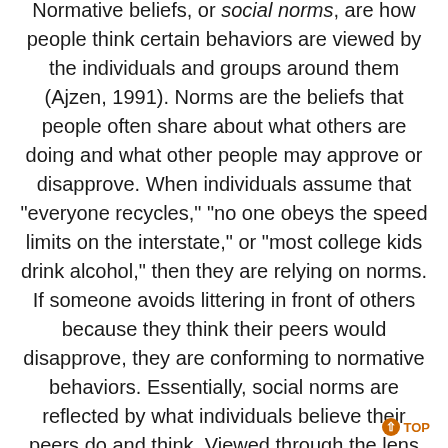Normative beliefs, or social norms, are how people think certain behaviors are viewed by the individuals and groups around them (Ajzen, 1991). Norms are the beliefs that people often share about what others are doing and what other people may approve or disapprove. When individuals assume that "everyone recycles," "no one obeys the speed limits on the interstate," or "most college kids drink alcohol," then they are relying on norms. If someone avoids littering in front of others because they think their peers would disapprove, they are conforming to normative behaviors. Essentially, social norms are reflected by what individuals believe their peers do and think. Viewed through the lens of Extension, clients' peers are the people important to them. Extension professionals must consider how their audiences feel about what they are